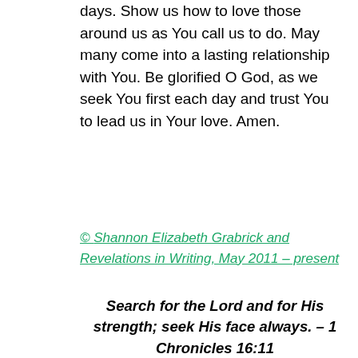days. Show us how to love those around us as You call us to do. May many come into a lasting relationship with You. Be glorified O God, as we seek You first each day and trust You to lead us in Your love. Amen.
© Shannon Elizabeth Grabrick and Revelations in Writing, May 2011 – present
Search for the Lord and for His strength; seek His face always. – 1 Chronicles 16:11
[Figure (screenshot): Social media share buttons: Twitter, Facebook, Email, LinkedIn, Pinterest (with badge 1), More]
[Figure (screenshot): Like button with star icon and three blogger avatar images]
3 bloggers like this